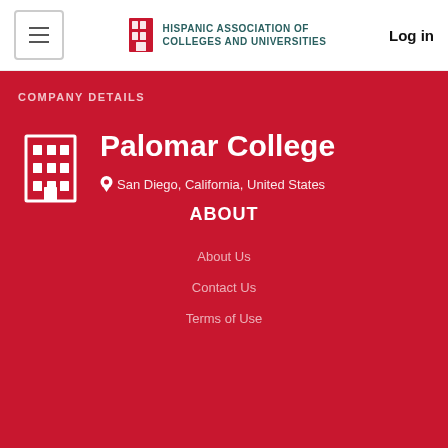HISPANIC ASSOCIATION OF COLLEGES AND UNIVERSITIES — Log in
COMPANY DETAILS
Palomar College
San Diego, California, United States
ABOUT
About Us
Contact Us
Terms of Use